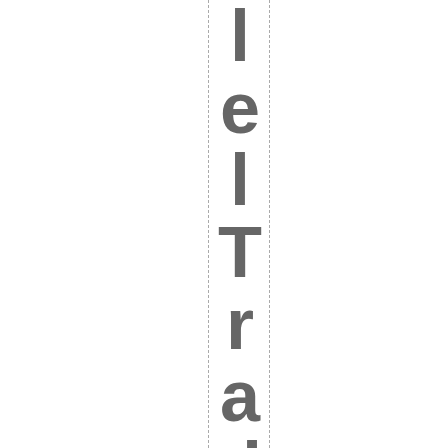l e l T r a d e
I k n o w p e o p l e